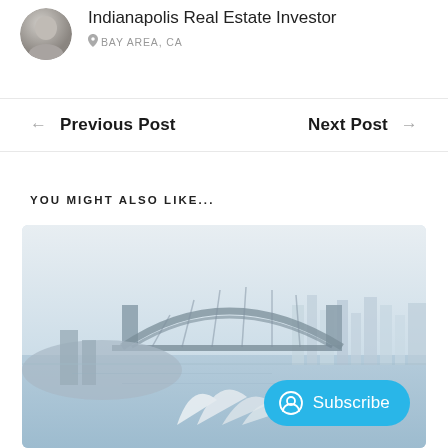[Figure (illustration): Circular avatar photo of a person, partially cropped at top]
Indianapolis Real Estate Investor
BAY AREA, CA
← Previous Post
Next Post →
YOU MIGHT ALSO LIKE...
[Figure (photo): Aerial cityscape photo showing Sydney Harbour Bridge and Opera House with city skyline in the background, misty/hazy atmosphere]
Subscribe